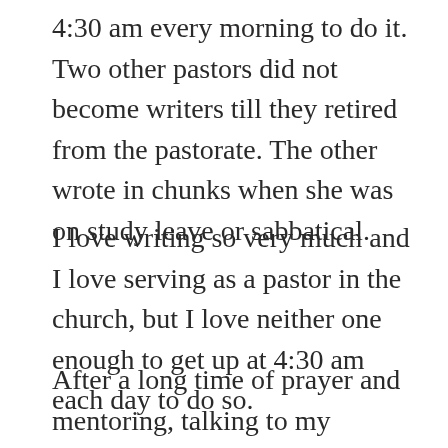4:30 am every morning to do it. Two other pastors did not become writers till they retired from the pastorate. The other wrote in chunks when she was on study leave or sabbatical.
I love writing so very much and I love serving as a pastor in the church, but I love neither one enough to get up at 4:30 am each day to do so.
After a long time of prayer and mentoring, talking to my bishop and other priests, in September, I